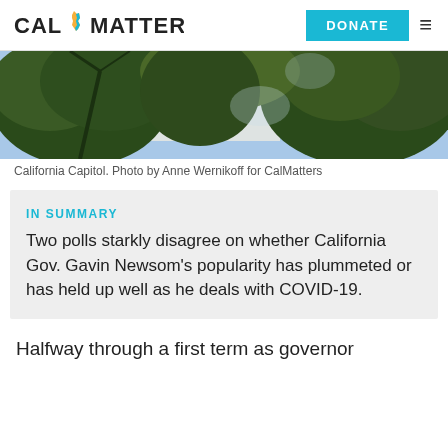CAL MATTERS | DONATE
[Figure (photo): California Capitol building partially visible through large oak tree canopy, outdoor daytime photo with blue sky]
California Capitol. Photo by Anne Wernikoff for CalMatters
IN SUMMARY
Two polls starkly disagree on whether California Gov. Gavin Newsom’s popularity has plummeted or has held up well as he deals with COVID-19.
Halfway through a first term as governor